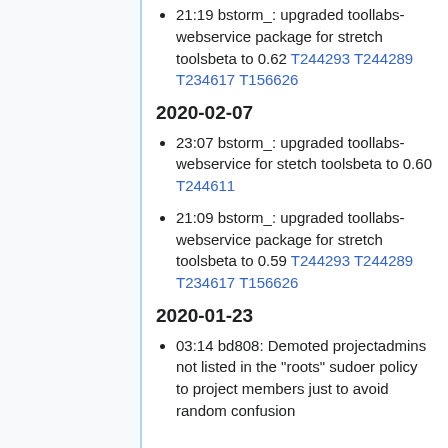21:19 bstorm_: upgraded toollabs-webservice package for stretch toolsbeta to 0.62 T244293 T244289 T234617 T156626
2020-02-07
23:07 bstorm_: upgraded toollabs-webservice for stetch toolsbeta to 0.60 T244611
21:09 bstorm_: upgraded toollabs-webservice package for stretch toolsbeta to 0.59 T244293 T244289 T234617 T156626
2020-01-23
03:14 bd808: Demoted projectadmins not listed in the "roots" sudoer policy to project members just to avoid random confusion